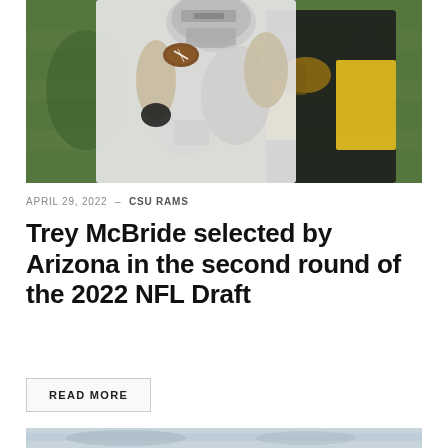[Figure (photo): Two football players in action — one in a white CSU Rams uniform catching a football, the other in a black and yellow uniform defending. Outdoor stadium with green turf background.]
APRIL 29, 2022 – CSU RAMS
Trey McBride selected by Arizona in the second round of the 2022 NFL Draft
READ MORE
[Figure (photo): Partial bottom photo, mostly grey/light tones, cropped at page edge.]